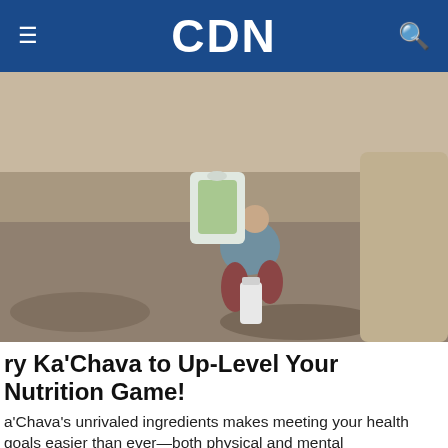CDN
[Figure (photo): Person crouching outdoors in rocky desert terrain, pouring from a Ka'Chava nutrition product bag into a container]
ry Ka'Chava to Up-Level Your Nutrition Game!
a'Chava's unrivaled ingredients makes meeting your health goals easier than ever—both physical and mental
The media could not be loaded, either because the server or network failed or because the format is not supported.
[Figure (screenshot): Video thumbnail showing LeBron James basketball player with text overlay THE NUMBERS BEHIND LEBRON JAMES' $97 MILLION DEAL]
The numbers behind LeBron James' $97 million deal